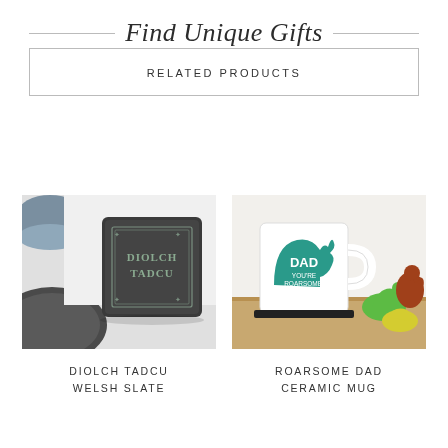Find Unique Gifts
RELATED PRODUCTS
[Figure (photo): Slate coaster with engraved text DIOLCH TADCU in a decorative frame, placed on a white surface next to a ceramic mug and dark plate]
DIOLCH TADCU
WELSH SLATE
[Figure (photo): White ceramic mug with a teal dinosaur design and text DAD YOU'RE ROARSOME, placed on a wooden surface next to colorful plastic dinosaur toys]
ROARSOME DAD
CERAMIC MUG